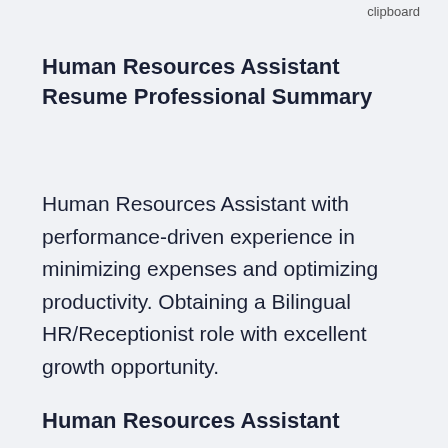clipboard
Human Resources Assistant Resume Professional Summary
Human Resources Assistant with performance-driven experience in minimizing expenses and optimizing productivity. Obtaining a Bilingual HR/Receptionist role with excellent growth opportunity.
Human Resources Assistant